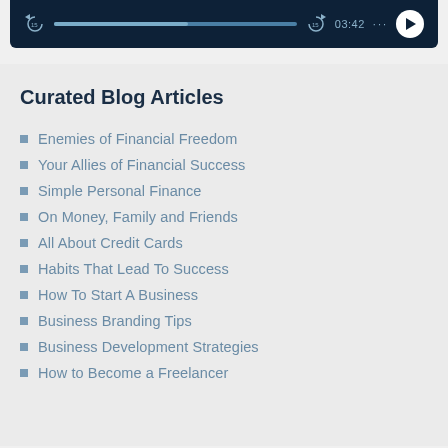[Figure (screenshot): Audio player bar with dark navy background showing skip-15 buttons, progress bar, time 03:42, dots menu, and white circular play button]
Curated Blog Articles
Enemies of Financial Freedom
Your Allies of Financial Success
Simple Personal Finance
On Money, Family and Friends
All About Credit Cards
Habits That Lead To Success
How To Start A Business
Business Branding Tips
Business Development Strategies
How to Become a Freelancer